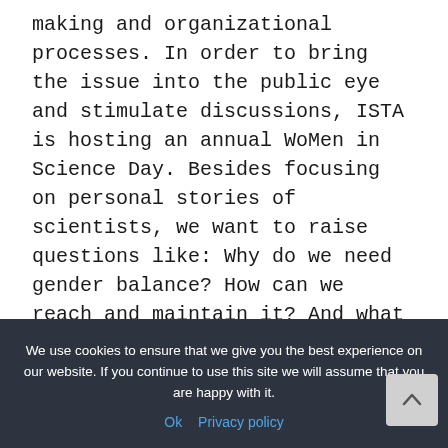making and organizational processes. In order to bring the issue into the public eye and stimulate discussions, ISTA is hosting an annual WoMen in Science Day. Besides focusing on personal stories of scientists, we want to raise questions like: Why do we need gender balance? How can we reach and maintain it? And what can science institutions do?
We use cookies to ensure that we give you the best experience on our website. If you continue to use this site we will assume that you are happy with it. Ok  Privacy policy